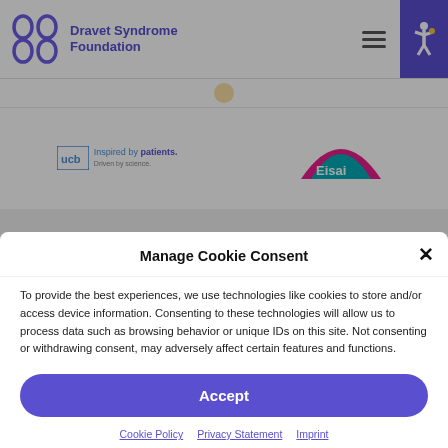[Figure (logo): Dravet Syndrome Foundation logo with stylized DNA/ribbon icons in purple and navigation icons]
[Figure (logo): UCB 'Inspired by patients.' logo and Eisai logo partially visible in background]
Manage Cookie Consent
To provide the best experiences, we use technologies like cookies to store and/or access device information. Consenting to these technologies will allow us to process data such as browsing behavior or unique IDs on this site. Not consenting or withdrawing consent, may adversely affect certain features and functions.
Accept
Cookie Policy   Privacy Statement   Imprint